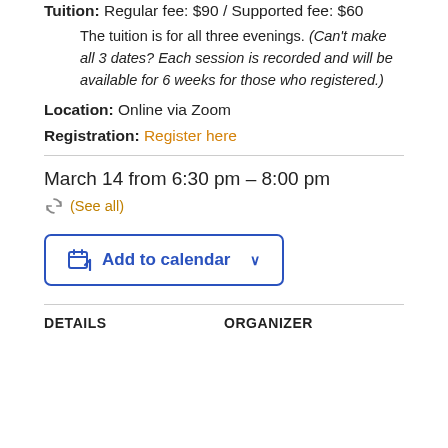Tuition: Regular fee: $90 / Supported fee: $60
The tuition is for all three evenings. (Can't make all 3 dates? Each session is recorded and will be available for 6 weeks for those who registered.)
Location: Online via Zoom
Registration: Register here
March 14 from 6:30 pm – 8:00 pm
(See all)
Add to calendar
DETAILS
ORGANIZER